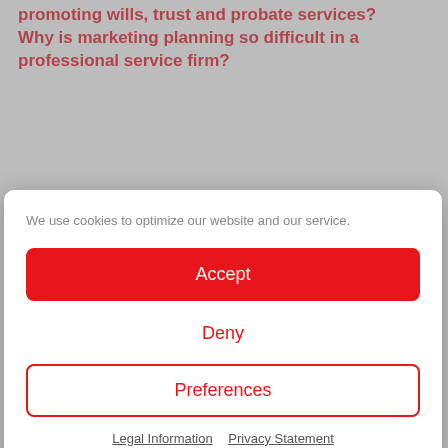promoting wills, trust and probate services? Why is marketing planning so difficult in a professional service firm?
We use cookies to optimize our website and our service.
Accept
Deny
Preferences
Legal Information   Privacy Statement
selling architecture and construction professional services
Business Development for Lawyers – The